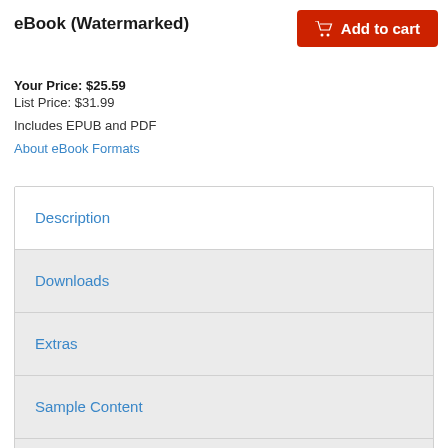eBook (Watermarked)
Your Price: $25.59
List Price: $31.99
Includes EPUB and PDF
About eBook Formats
Description
Downloads
Extras
Sample Content
Updates
More Information